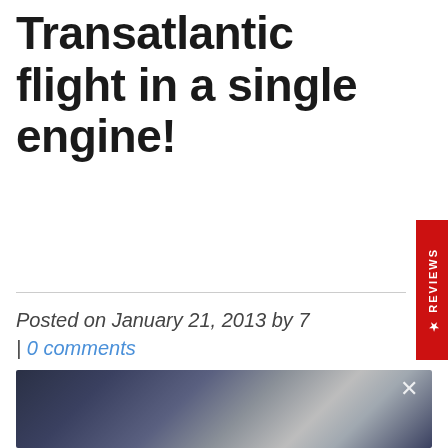Transatlantic flight in a single engine!
Posted on January 21, 2013 by 7 | 0 comments
[Figure (photo): A blurred/dark photograph partially visible at the bottom of the page, with a close (×) button in the upper right corner of the image.]